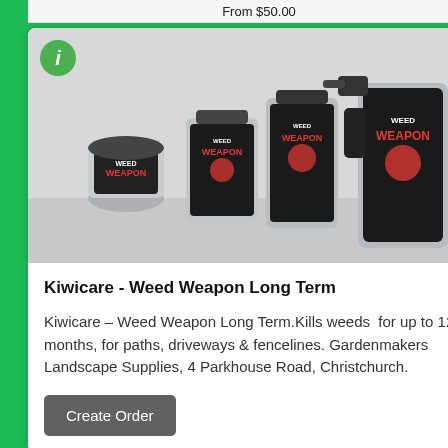From $50.00
[Figure (photo): Product photo showing multiple Kiwicare Weed Weapon Long Term containers: a small round jar, two rectangular bottles, and a large spray trigger bottle, all with black caps and black/red/grey labels, arranged on a light surface.]
Kiwicare - Weed Weapon Long Term
Kiwicare – Weed Weapon Long Term.Kills weeds  for up to 12 months, for paths, driveways & fencelines. Gardenmakers Landscape Supplies, 4 Parkhouse Road, Christchurch.
Create Order